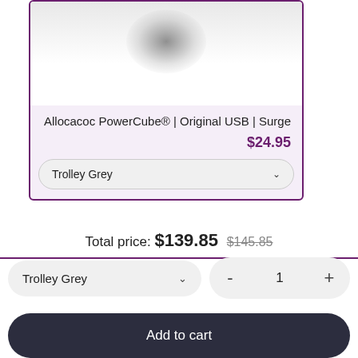[Figure (photo): Product image of Allocacoc PowerCube, partially visible with blurred content, white/gray background]
Allocacoc PowerCube® | Original USB | Surge
$24.95
Trolley Grey
Total price: $139.85 $145.85
Trolley Grey
- 1 +
Add to cart